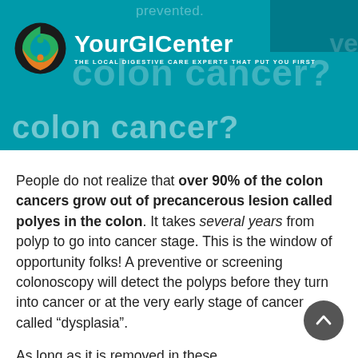YourGICenter – THE LOCAL DIGESTIVE CARE EXPERTS THAT PUT YOU FIRST
colon cancer?
People do not realize that over 90% of the colon cancers grow out of precancerous lesion called polyes in the colon. It takes several years from polyp to go into cancer stage. This is the window of opportunity folks! A preventive or screening colonoscopy will detect the polyps before they turn into cancer or at the very early stage of cancer called “dysplasia”.
As long as it is removed in these